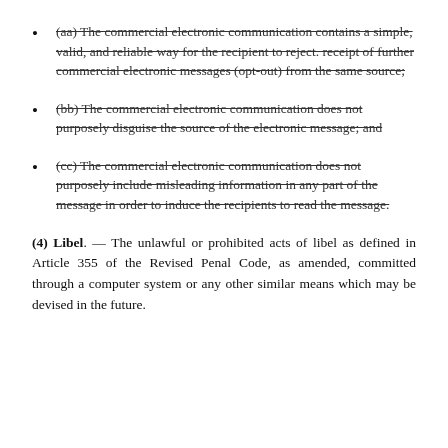(aa) The commercial electronic communication contains a simple, valid, and reliable way for the recipient to reject. receipt of further commercial electronic messages (opt-out) from the same source;
(bb) The commercial electronic communication does not purposely disguise the source of the electronic message; and
(cc) The commercial electronic communication does not purposely include misleading information in any part of the message in order to induce the recipients to read the message.
(4) Libel. — The unlawful or prohibited acts of libel as defined in Article 355 of the Revised Penal Code, as amended, committed through a computer system or any other similar means which may be devised in the future.